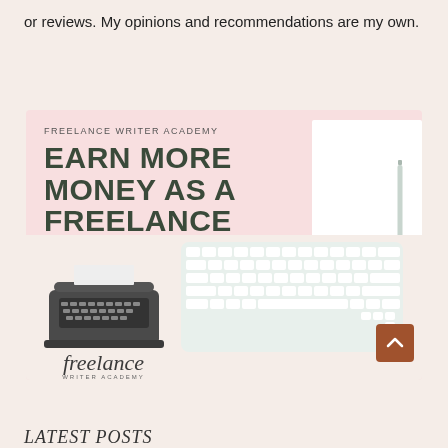or reviews. My opinions and recommendations are my own.
[Figure (illustration): Freelance Writer Academy advertisement banner with pink background showing large bold text 'EARN MORE MONEY AS A FREELANCE WRITER', brand name, URL, typewriter illustration, keyboard illustration, and Freelance Writer Academy logo]
LATEST POSTS